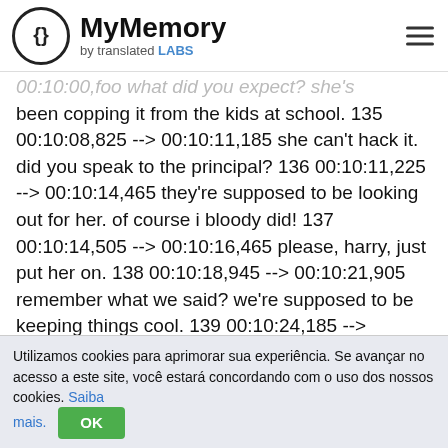MyMemory by translated LABS
00:10:00,foo what did you expect? she's been copping it from the kids at school. 135 00:10:08,825 --> 00:10:11,185 she can't hack it. did you speak to the principal? 136 00:10:11,225 --> 00:10:14,465 they're supposed to be looking out for her. of course i bloody did! 137 00:10:14,505 --> 00:10:16,465 please, harry, just put her on. 138 00:10:18,945 --> 00:10:21,905 remember what we said? we're supposed to be keeping things cool. 139 00:10:24,185 --> 00:10:26,905 deb? debbie, is that you? 140 00:10:26,945 --> 00:10:28,945 it's not. 141
Utilizamos cookies para aprimorar sua experiência. Se avançar no acesso a este site, você estará concordando com o uso dos nossos cookies. Saiba mais. OK